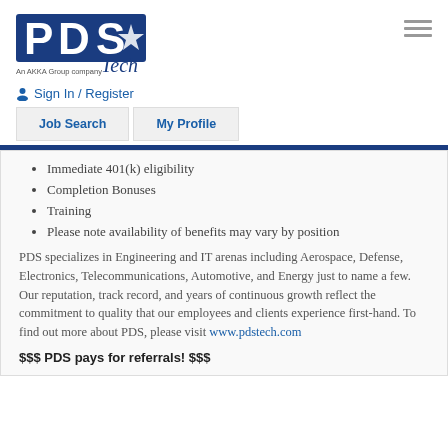[Figure (logo): PDS Tech logo — An AKKA Group company]
Sign In / Register
Job Search   My Profile
Immediate 401(k) eligibility
Completion Bonuses
Training
Please note availability of benefits may vary by position
PDS specializes in Engineering and IT arenas including Aerospace, Defense, Electronics, Telecommunications, Automotive, and Energy just to name a few. Our reputation, track record, and years of continuous growth reflect the commitment to quality that our employees and clients experience first-hand. To find out more about PDS, please visit www.pdstech.com
$$$ PDS pays for referrals! $$$